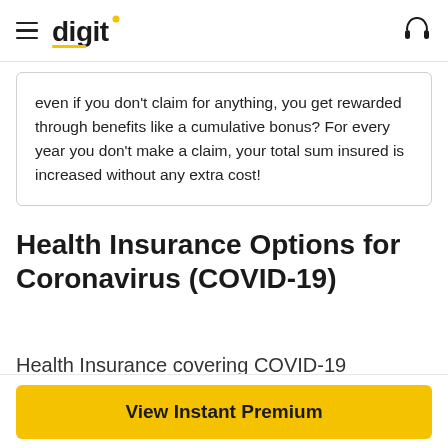digit
even if you don't claim for anything, you get rewarded through benefits like a cumulative bonus? For every year you don't make a claim, your total sum insured is increased without any extra cost!
Health Insurance Options for Coronavirus (COVID-19)
Health Insurance covering COVID-19
To learn more about health insurance policies of...
View Instant Premium